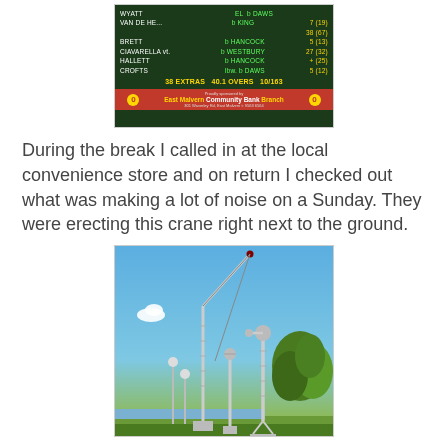[Figure (photo): Cricket scoreboard showing match details including player names (Wyatt, Van De He, Brett, Ciavarella, Hallett, Crofts), scores, 38 Extras, 40.1 Overs, 10/163, with East Malvern Community Bank Branch sponsorship banner in red at bottom]
During the break I called in at the local convenience store and on return I checked out what was making a lot of noise on a Sunday. They were erecting this crane right next to the ground.
[Figure (photo): Photograph of construction cranes being erected against a bright blue sky with some clouds and green trees visible in the background]